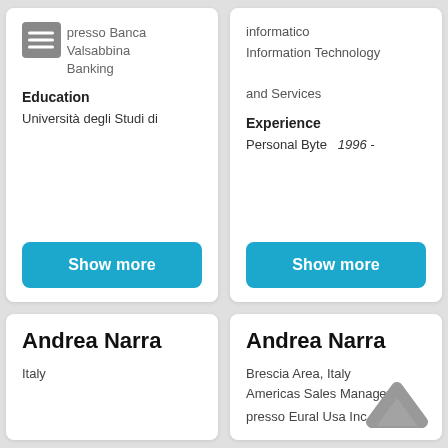presso Banca Valsabbina Banking
Education
Università degli Studi di
Show more
informatico Information Technology and Services
Experience
Personal Byte   1996 -
Show more
Andrea Narra
Italy
Andrea Narra
Brescia Area, Italy
Americas Sales Manager
presso Eural Usa Inc.